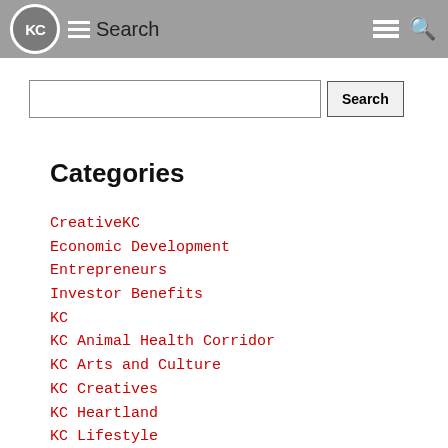KC Search
Categories
CreativeKC
Economic Development
Entrepreneurs
Investor Benefits
KC
KC Animal Health Corridor
KC Arts and Culture
KC Creatives
KC Heartland
KC Lifestyle
KC Soul Book